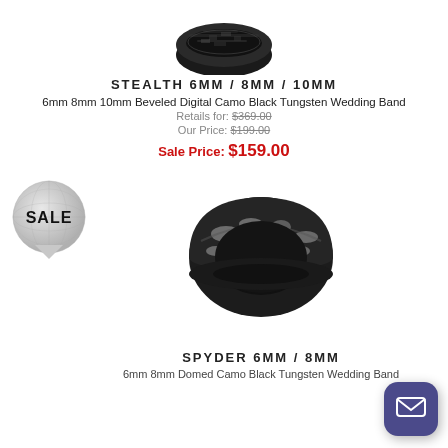[Figure (photo): Black tungsten wedding band ring with beveled digital camo pattern, top portion visible]
STEALTH 6MM / 8MM / 10MM
6mm 8mm 10mm Beveled Digital Camo Black Tungsten Wedding Band
Retails for: $369.00
Our Price: $199.00
Sale Price: $159.00
[Figure (illustration): Globe/world icon with SALE text overlay]
[Figure (photo): Black and gray camo domed tungsten wedding band ring]
SPYDER 6MM / 8MM
6mm 8mm Domed Camo Black Tungsten Wedding Band